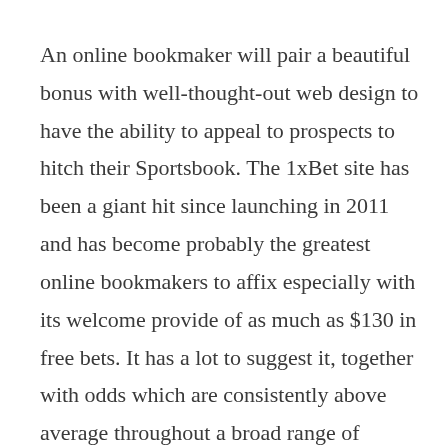An online bookmaker will pair a beautiful bonus with well-thought-out web design to have the ability to appeal to prospects to hitch their Sportsbook. The 1xBet site has been a giant hit since launching in 2011 and has become probably the greatest online bookmakers to affix especially with its welcome provide of as much as $130 in free bets. It has a lot to suggest it, together with odds which are consistently above average throughout a broad range of sports. Other advantages of this site embrace an impressive alternative of bets on every match, special bets you will not discover anywhere else and a range of occasions obtainable as live streams. Once your account has been verified